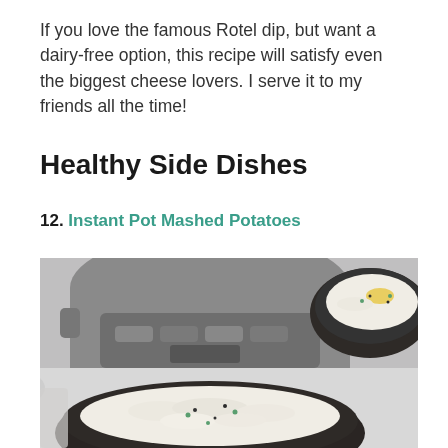If you love the famous Rotel dip, but want a dairy-free option, this recipe will satisfy even the biggest cheese lovers. I serve it to my friends all the time!
Healthy Side Dishes
12. Instant Pot Mashed Potatoes
[Figure (photo): Overhead photo of mashed potatoes in dark bowls with an Instant Pot in the background, garnished with black pepper and green chives, with a pat of butter on top.]